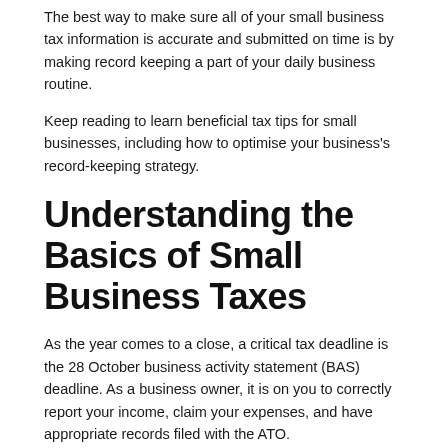The best way to make sure all of your small business tax information is accurate and submitted on time is by making record keeping a part of your daily business routine.
Keep reading to learn beneficial tax tips for small businesses, including how to optimise your business's record-keeping strategy.
Understanding the Basics of Small Business Taxes
As the year comes to a close, a critical tax deadline is the 28 October business activity statement (BAS) deadline. As a business owner, it is on you to correctly report your income, claim your expenses, and have appropriate records filed with the ATO.